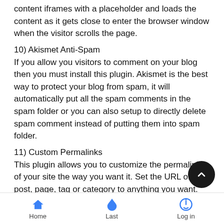content iframes with a placeholder and loads the content as it gets close to enter the browser window when the visitor scrolls the page.
10) Akismet Anti-Spam
If you allow you visitors to comment on your blog then you must install this plugin. Akismet is the best way to protect your blog from spam, it will automatically put all the spam comments in the spam folder or you can also setup to directly delete spam comment instead of putting them into spam folder.
11) Custom Permalinks
This plugin allows you to customize the permalink of your site the way you want it. Set the URL of any post, page, tag or category to anything you want. Old permalinks will redirect properly to the new address.
12) Blog2Social
If you don't want to manually share you posts on social media then you can use this plugin. This plugin
Home  Last  Log in